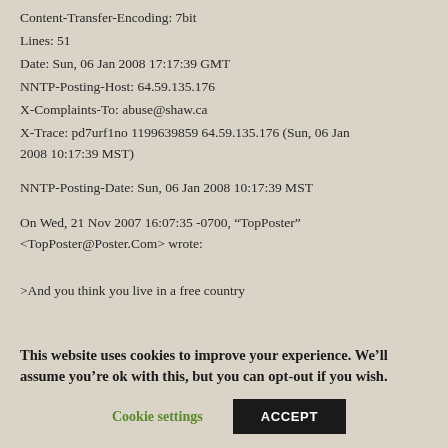Content-Transfer-Encoding: 7bit
Lines: 51
Date: Sun, 06 Jan 2008 17:17:39 GMT
NNTP-Posting-Host: 64.59.135.176
X-Complaints-To: abuse@shaw.ca
X-Trace: pd7urf1no 1199639859 64.59.135.176 (Sun, 06 Jan 2008 10:17:39 MST)
NNTP-Posting-Date: Sun, 06 Jan 2008 10:17:39 MST
On Wed, 21 Nov 2007 16:07:35 -0700, “TopPoster” <TopPoster@Poster.Com> wrote:
>And you think you live in a free country
This website uses cookies to improve your experience. We’ll assume you’re ok with this, but you can opt-out if you wish.
Cookie settings    ACCEPT